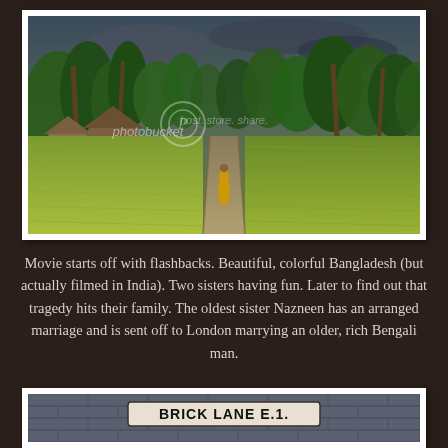[Figure (photo): A lush green rice paddy landscape in Bangladesh (filmed in India). A dirt path runs through green rice fields with palm trees and huts in the background. A woman in a yellow sari walks along the path. Photobucket watermark overlay visible.]
Movie starts off with flashbacks. Beautiful, colorful Bangladesh (but actually filmed in India). Two sisters having fun. Later to find out that tragedy hits their family. The oldest sister Nazneen has an arranged marriage and is sent off to London marrying an older, rich Bengali man.
[Figure (photo): A brick wall with a street sign reading BRICK LANE E.1. and a partial second sign below it.]